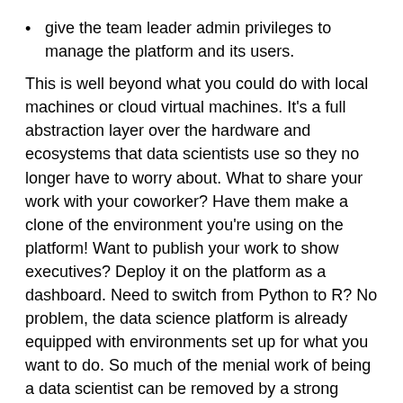give the team leader admin privileges to manage the platform and its users.
This is well beyond what you could do with local machines or cloud virtual machines. It's a full abstraction layer over the hardware and ecosystems that data scientists use so they no longer have to worry about. What to share your work with your coworker? Have them make a clone of the environment you're using on the platform! Want to publish your work to show executives? Deploy it on the platform as a dashboard. Need to switch from Python to R? No problem, the data science platform is already equipped with environments set up for what you want to do. So much of the menial work of being a data scientist can be removed by a strong platform.
The leader of the data science team gets new tools as well. They can keep track of how much cloud resources data scientists are using, manage who has access to